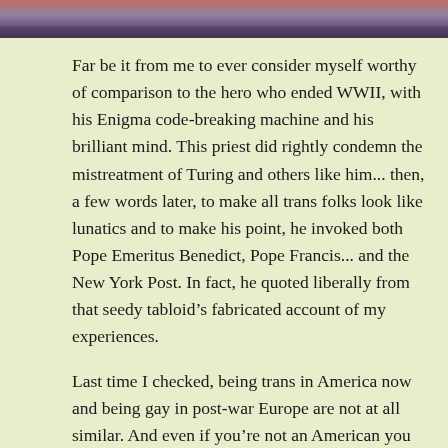[Figure (photo): A blurry photo at the top of the page showing what appears to be a waterfront or city scene with reflections in water, warm/pinkish tones.]
Far be it from me to ever consider myself worthy of comparison to the hero who ended WWII, with his Enigma code-breaking machine and his brilliant mind. This priest did rightly condemn the mistreatment of Turing and others like him... then, a few words later, to make all trans folks look like lunatics and to make his point, he invoked both Pope Emeritus Benedict, Pope Francis... and the New York Post. In fact, he quoted liberally from that seedy tabloid's fabricated account of my experiences.
Last time I checked, being trans in America now and being gay in post-war Europe are not at all similar. And even if you're not an American you